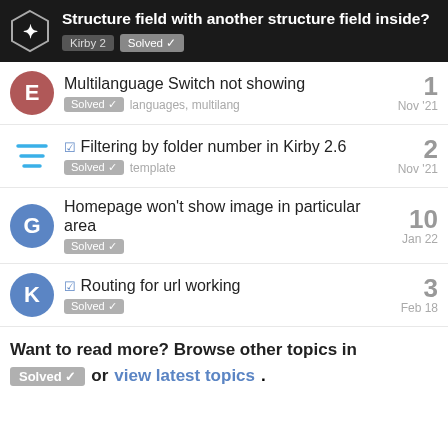Structure field with another structure field inside? Kirby 2 Solved
Multilanguage Switch not showing — Solved, languages, multilang — 1 reply — Nov '21
Filtering by folder number in Kirby 2.6 — Solved, template — 2 replies — Nov '21
Homepage won't show image in particular area — Solved — 10 replies — Jan 22
Routing for url working — Solved — 3 replies — Feb 18
Want to read more? Browse other topics in Solved or view latest topics.